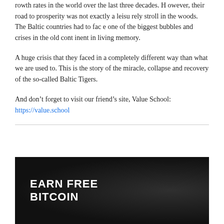rowth rates in the world over the last three decades. However, their road to prosperity was not exactly a leisurely stroll in the woods. The Baltic countries had to face one of the biggest bubbles and crises in the old continent in living memory.
A huge crisis that they faced in a completely different way than what we are used to. This is the story of the miracle, collapse and recovery of the so-called Baltic Tigers.
And don't forget to visit our friend's site, Value School: https://value.school
[Figure (illustration): Dark banner advertisement with bold white text reading 'EARN FREE BITCOIN' on a dark textured background with subtle circular pattern overlay.]